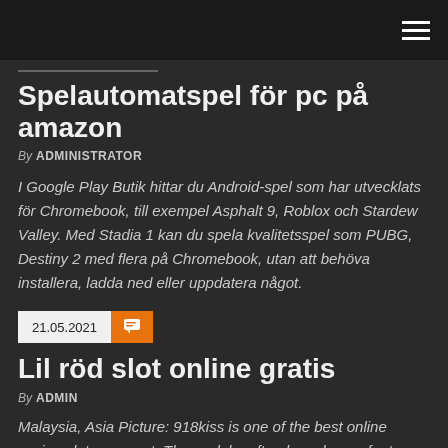Spelautomatspel för pc på amazon
By ADMINISTRATOR
I Google Play Butik hittar du Android-spel som har utvecklats för Chromebook, till exempel Asphalt 9, Roblox och Stardew Valley. Med Stadia 1 kan du spela kvalitetsspel som PUBG, Destiny 2 med flera på Chromebook, utan att behöva installera, ladda ned eller uppdatera något.
21.05.2021
Lil röd slot online gratis
By ADMIN
Malaysia, Asia Picture: 918kiss is one of the best online casino slot games at. These clubs often have bonus features